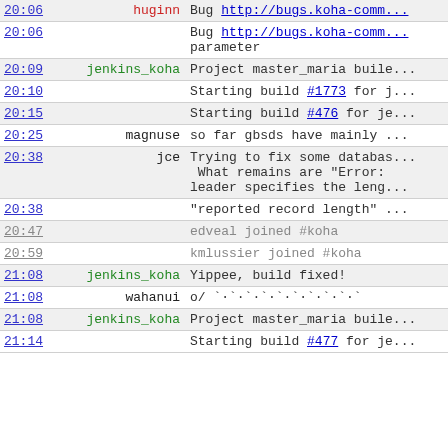| Time | Nick | Message |
| --- | --- | --- |
| 20:06 | huginn | Bug http://bugs.koha-comm... |
| 20:06 |  | Bug http://bugs.koha-comm... parameter |
| 20:09 | jenkins_koha | Project master_maria buile... |
| 20:10 |  | Starting build #1773 for j... |
| 20:15 |  | Starting build #476 for je... |
| 20:25 | magnuse | so far gbsds have mainly ... |
| 20:38 | jce | Trying to fix some databas... What remains are "Error: leader specifies the leng... |
| 20:38 |  | "reported record length" ... |
| 20:47 |  | edveal joined #koha |
| 20:59 |  | kmlussier joined #koha |
| 21:08 | jenkins_koha | Yippee, build fixed! |
| 21:08 | wahanui | o/ `·`·`·`·`·`·`·`·`·`· |
| 21:08 | jenkins_koha | Project master_maria buile... |
| 21:14 |  | Starting build #477 for je... |